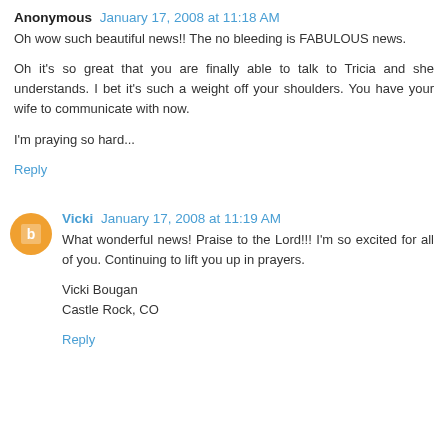Anonymous January 17, 2008 at 11:18 AM
Oh wow such beautiful news!! The no bleeding is FABULOUS news.

Oh it's so great that you are finally able to talk to Tricia and she understands. I bet it's such a weight off your shoulders. You have your wife to communicate with now.

I'm praying so hard...
Reply
Vicki January 17, 2008 at 11:19 AM
What wonderful news! Praise to the Lord!!! I'm so excited for all of you. Continuing to lift you up in prayers.

Vicki Bougan
Castle Rock, CO
Reply